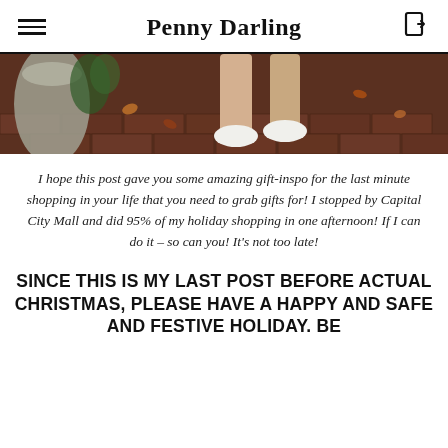Penny Darling
[Figure (photo): Close-up photo of a person's legs and white shoes on a brick pavement with autumn leaves, with a stone column or urn visible on the left.]
I hope this post gave you some amazing gift-inspo for the last minute shopping in your life that you need to grab gifts for! I stopped by Capital City Mall and did 95% of my holiday shopping in one afternoon! If I can do it – so can you! It's not too late!
SINCE THIS IS MY LAST POST BEFORE ACTUAL CHRISTMAS, PLEASE HAVE A HAPPY AND SAFE AND FESTIVE HOLIDAY. BE